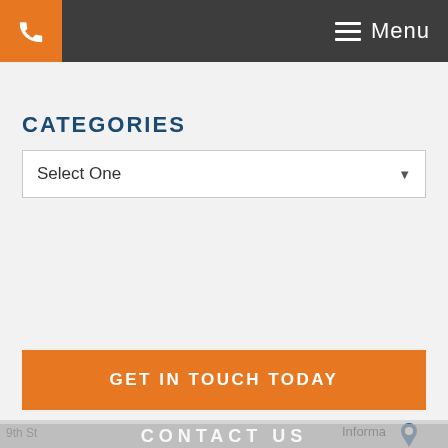Menu
CATEGORIES
Select One
GET IN TOUCH TODAY
[Figure (map): Partial Google Maps view showing streets and an 'Informa' location pin]
CONTACT US